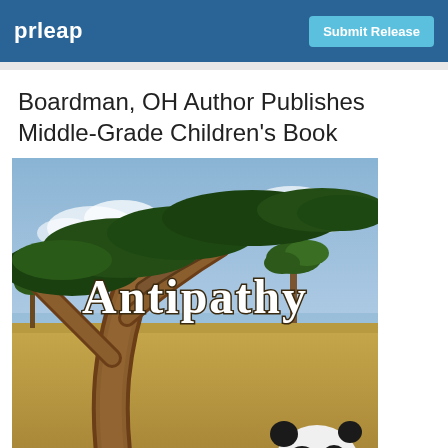prleap | Submit Release
Boardman, OH Author Publishes Middle-Grade Children's Book
[Figure (illustration): Book cover of 'Antipathy' showing an African savanna scene with acacia trees, golden grasslands, blue sky with clouds, a large twisted tree trunk in the foreground, and a panda bear at the bottom right. The title 'Antipathy' is written in ornate white gothic lettering across the upper portion of the cover.]